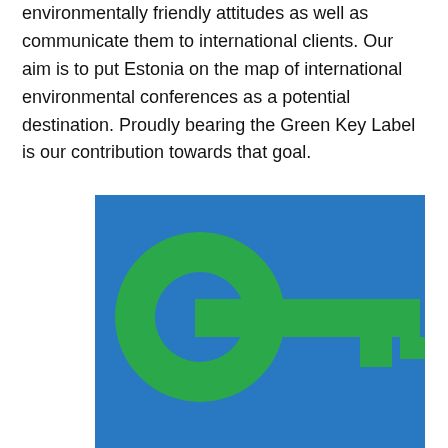environmentally friendly attitudes as well as communicate them to international clients. Our aim is to put Estonia on the map of international environmental conferences as a potential destination. Proudly bearing the Green Key Label is our contribution towards that goal.
[Figure (logo): Green Key Label logo: a green key icon on a blue square background. The key has a circular bow on the left and a rectangular shaft extending to the right with two teeth at the bottom right.]